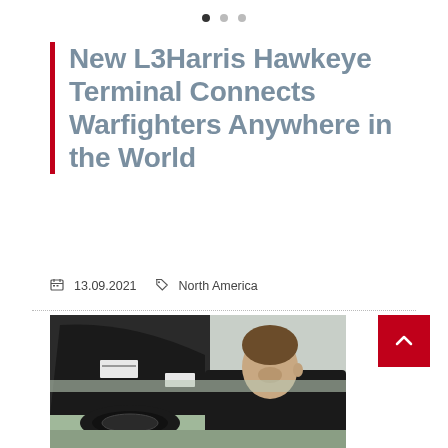• • •
New L3Harris Hawkeye Terminal Connects Warfighters Anywhere in the World
13.09.2021  North America
[Figure (photo): A technician or soldier in a black shirt working on a satellite terminal or antenna equipment outdoors, with trees visible in the background.]